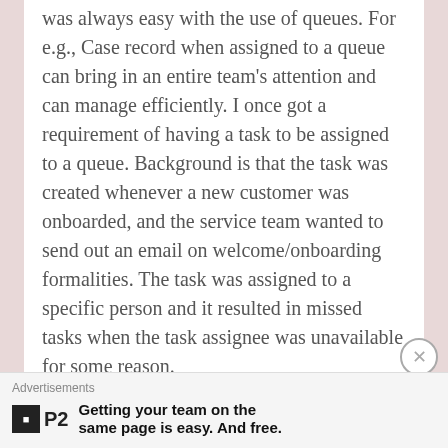was always easy with the use of queues. For e.g., Case record when assigned to a queue can bring in an entire team's attention and can manage efficiently. I once got a requirement of having a task to be assigned to a queue. Background is that the task was created whenever a new customer was onboarded, and the service team wanted to send out an email on welcome/onboarding formalities. The task was assigned to a specific person and it resulted in missed tasks when the task assignee was unavailable for some reason.
What is New?
Starting Spring '20, salesforce now allows a user to share their workload by setting up queues for tasks.
Advertisements
Getting your team on the same page is easy. And free.